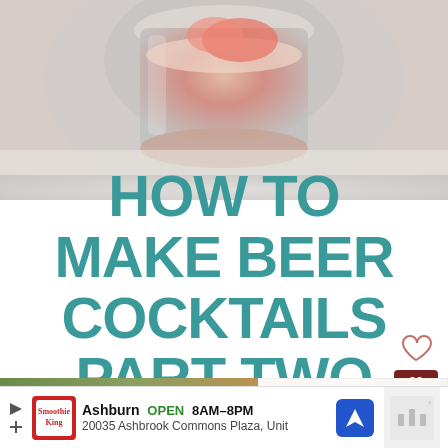[Figure (photo): Top portion of a cocktail in a glass jar with ice, blurred background, top-cropped]
HOW TO MAKE BEER COCKTAILS PART TWO
[Figure (infographic): Social sidebar with heart icon, count badge showing 30, and share button]
[Figure (photo): Bottom photo showing beer cocktail drinks and a bottle, blurred]
[Figure (screenshot): What's Next panel showing thumbnail and text 'How To Make Craft Beer...']
Ashburn OPEN 8AM–8PM 20035 Ashbrook Commons Plaza, Unit